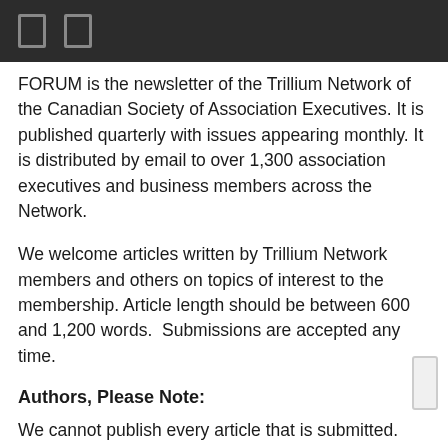FORUM is the newsletter of the Trillium Network of the Canadian Society of Association Executives. It is published quarterly with issues appearing monthly. It is distributed by email to over 1,300 association executives and business members across the Network.
We welcome articles written by Trillium Network members and others on topics of interest to the membership. Article length should be between 600 and 1,200 words.  Submissions are accepted any time.
Authors, Please Note:
We cannot publish every article that is submitted. Authors will increase their chances if they follow